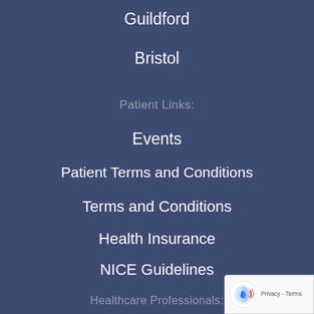Guildford
Bristol
Patient Links:
Events
Patient Terms and Conditions
Terms and Conditions
Health Insurance
NICE Guidelines
Healthcare Professionals:
Careers
Training
Medical Companies
[Figure (logo): reCAPTCHA badge with Privacy and Terms links]